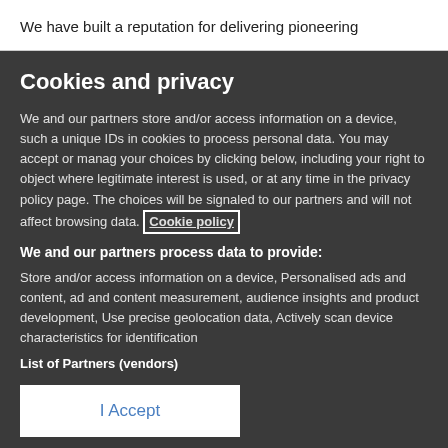We have built a reputation for delivering pioneering
Cookies and privacy
We and our partners store and/or access information on a device, such a unique IDs in cookies to process personal data. You may accept or manage your choices by clicking below, including your right to object where legitimate interest is used, or at any time in the privacy policy page. These choices will be signaled to our partners and will not affect browsing data. Cookie policy
We and our partners process data to provide:
Store and/or access information on a device, Personalised ads and content, ad and content measurement, audience insights and product development, Use precise geolocation data, Actively scan device characteristics for identification
List of Partners (vendors)
I Accept